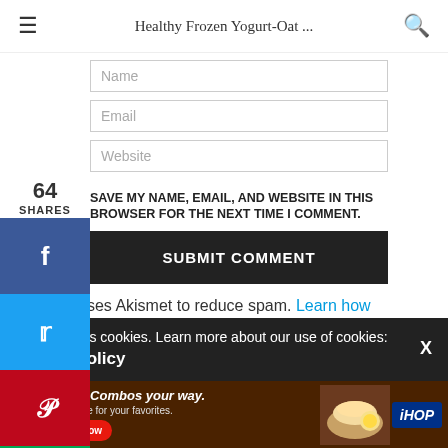Healthy Frozen Yogurt-Oat ...
Name
64 SHARES
Email
Website
SAVE MY NAME, EMAIL, AND WEBSITE IN THIS BROWSER FOR THE NEXT TIME I COMMENT.
SUBMIT COMMENT
This site uses Akismet to reduce spam. Learn how
Our site uses cookies. Learn more about our use of cookies: Cookie Policy
[Figure (screenshot): IHOP advertisement: Griddle Combos your way. Great value for your favorites. Order Now button. IHOP logo with food image.]